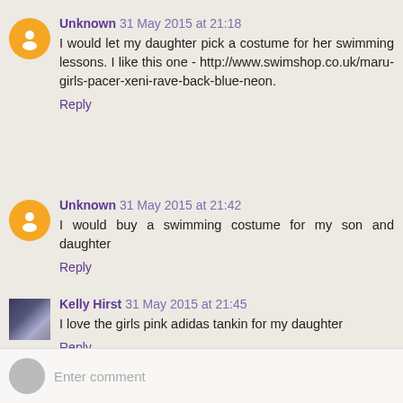Unknown 31 May 2015 at 21:18
I would let my daughter pick a costume for her swimming lessons. I like this one - http://www.swimshop.co.uk/maru-girls-pacer-xeni-rave-back-blue-neon.
Reply
Unknown 31 May 2015 at 21:42
I would buy a swimming costume for my son and daughter
Reply
Kelly Hirst 31 May 2015 at 21:45
I love the girls pink adidas tankin for my daughter
Reply
Enter comment